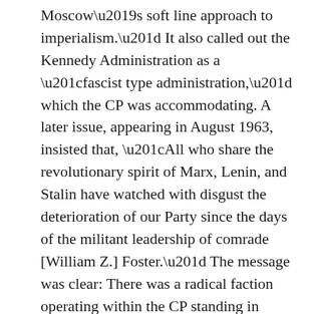Moscow’s soft line approach to imperialism.” It also called out the Kennedy Administration as a “fascist type administration,” which the CP was accommodating. A later issue, appearing in August 1963, insisted that, “All who share the revolutionary spirit of Marx, Lenin, and Stalin have watched with disgust the deterioration of our Party since the days of the militant leadership of comrade [William Z.] Foster.” The message was clear: There was a radical faction operating within the CP standing in opposition to the current leadership.
As hyper-radical as the AHC came across, the force behind the program